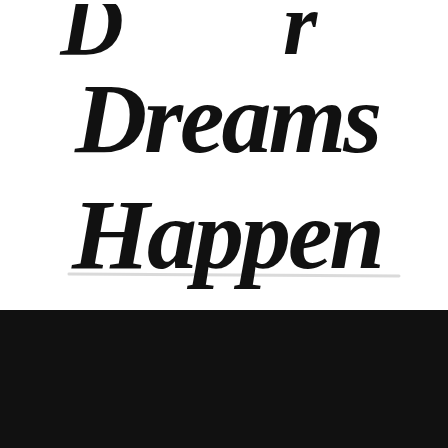[Figure (illustration): Brush lettering / hand-lettered motivational text reading 'Dreams Happen' in large black brush script on white background, with the top of an additional word partially visible at the top. Lower portion of page is a solid black rectangle.]